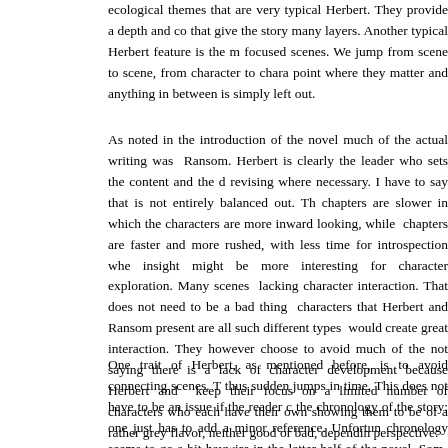ecological themes that are very typical Herbert. They provide a depth and complexity that give the story many layers. Another typical Herbert feature is the multiple focused scenes. We jump from scene to scene, from character to character at the point where they matter and anything in between is simply left out.
As noted in the introduction of the novel much of the actual writing was done by Ransom. Herbert is clearly the leader who sets the content and the direction, revising where necessary. I have to say that is not entirely balanced out. The Herbert chapters are slower in which the characters are more inward looking, while Ransom chapters are faster and more rushed, with less time for introspection where Herberts insight might be more interesting for character exploration. Many scenes are also lacking character interaction. That does not need to be a bad thing because the characters that Herbert and Ransom present are all such different types that it would create great interaction. They however choose to avoid much of the interaction. I'm not saying there is a lack of character development because Herbert and Ransom keep their focus on a limited number of characters who each have their own story line showing them to be of a rather grey flavor, neither good or bad, depending on your perspective.
One trait of Herbert, as mentioned before, is to avoid connecting scenes. There are thus sudden jumps in time. This does not have to be an issue if the reader can follow the chronology of the story; one just has to add a minor reference. Unfortunately the chronology seems to go a bit haywire in the latter half of the novel. Some events seemed to go rather slow while other events rapidly progress. For example, one of the big developments appears out of nowhere as it is only referred to in retrospect, while the story is already trying to deal with the effects of the development. As the novel isn't that long it wouldn't have been bad to add a few chapters to b